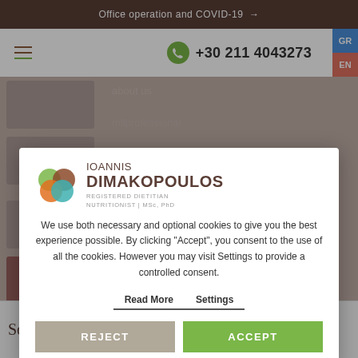Office operation and COVID-19 →
+30 211 4043273
[Figure (screenshot): Cookie consent modal dialog on dietitian website for Ioannis Dimakopoulos, Registered Dietitian Nutritionist MSc PhD, with REJECT and ACCEPT buttons]
We use both necessary and optional cookies to give you the best experience possible. By clicking "Accept", you consent to the use of all the cookies. However you may visit Settings to provide a controlled consent.
Read More Settings
REJECT
ACCEPT
Soci
[Figure (logo): European Union European Social Fund logo, EPAnEK 2014-2020 Operational Programme Competitiveness Entrepreneurship Innovation logo, ESPA 2014-2020 Partnership Agreement logo]